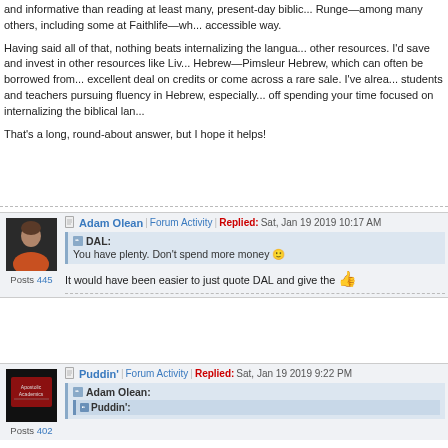and informative than reading at least many, present-day biblic... Runge—among many others, including some at Faithlife—wh... accessible way.
Having said all of that, nothing beats internalizing the langua... other resources. I'd save and invest in other resources like Liv... Hebrew—Pimsleur Hebrew, which can often be borrowed from... excellent deal on credits or come across a rare sale. I've alrea... students and teachers pursuing fluency in Hebrew, especially... off spending your time focused on internalizing the biblical lan...
That's a long, round-about answer, but I hope it helps!
Adam Olean | Forum Activity | Replied: Sat, Jan 19 2019 10:17 AM
DAL:
You have plenty. Don't spend more money 🙂
It would have been easier to just quote DAL and give the 👍
Posts 445
Puddin' | Forum Activity | Replied: Sat, Jan 19 2019 9:22 PM
Adam Olean:
Puddin':
Posts 402